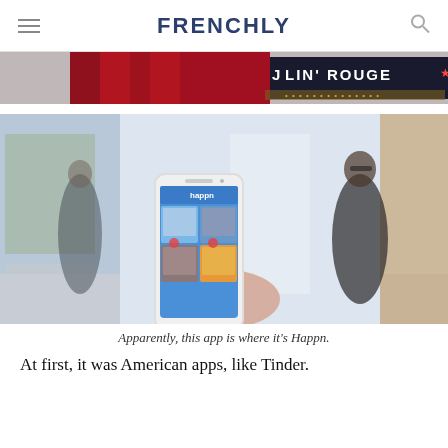FRENCHLY
[Figure (photo): Moulin Rouge banner advertisement with red feathers]
[Figure (photo): Person holding a smartphone showing the Happn dating app, with a blurred person walking in the street background]
Apparently, this app is where it's Happn.
At first, it was American apps, like Tinder.